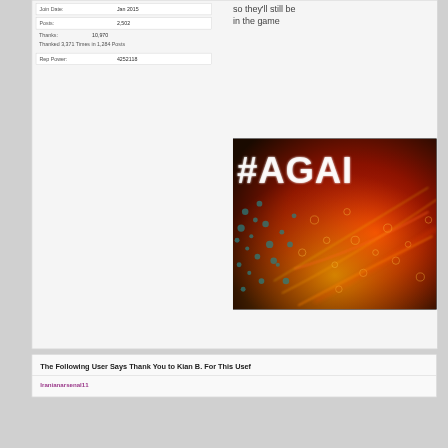| Join Date: | Jan 2015 |
| Posts: | 2,502 |
| Thanks: | 10,970 |
| Thanked 3,371 Times in 1,284 Posts |  |
| Rep Power: | 4252118 |
so they'll still be in the game
[Figure (photo): Dark image with '#AGAI' text overlay and colorful particle/light effects in red and gold]
The Following User Says Thank You to Kian B. For This Usef
Iranianarsenal11